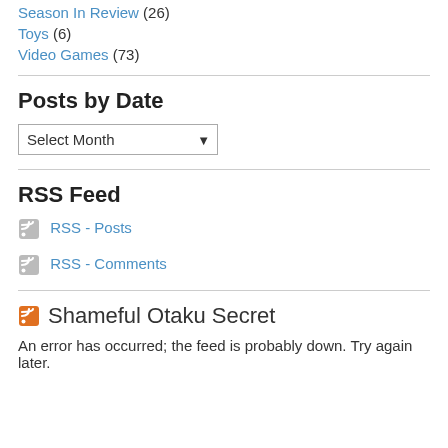Season In Review (26)
Toys (6)
Video Games (73)
Posts by Date
Select Month
RSS Feed
RSS - Posts
RSS - Comments
Shameful Otaku Secret
An error has occurred; the feed is probably down. Try again later.